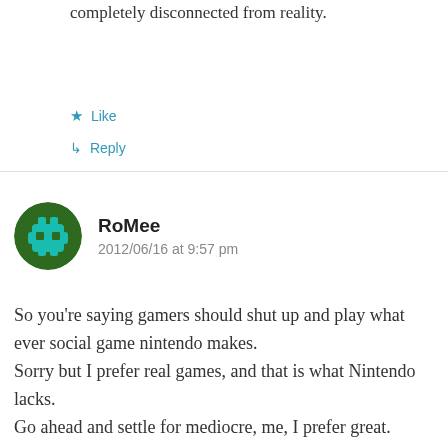completely disconnected from reality.
★ Like
↳ Reply
[Figure (illustration): User avatar for RoMee: circular avatar with dark green background and teal/cyan robotic or character icon]
RoMee
2012/06/16 at 9:57 pm
So you're saying gamers should shut up and play what ever social game nintendo makes. Sorry but I prefer real games, and that is what Nintendo lacks. Go ahead and settle for mediocre, me, I prefer great.